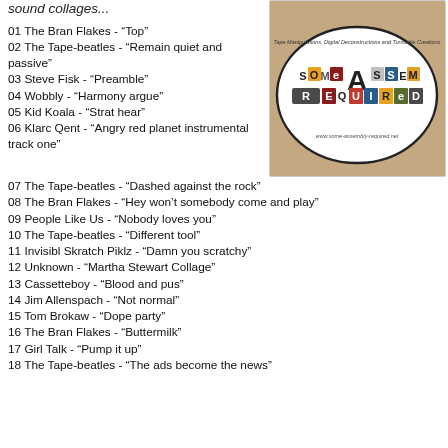sound collages...
[Figure (logo): Some Assembly Required album art logo — tan/brown background with oval logo showing 'SOME ASSEMBLY REQUIRED' in mixed collage-style letters, with tagline 'Tape Manipulations, Digital Deconstructions and Turntable Creations' and website www.some-assembly-required.net]
01 The Bran Flakes - “Top”
02 The Tape-beatles - “Remain quiet and passive”
03 Steve Fisk - “Preamble”
04 Wobbly - “Harmony argue”
05 Kid Koala - “Strat hear”
06 Klarc Qent - “Angry red planet instrumental track one”
07 The Tape-beatles - “Dashed against the rock”
08 The Bran Flakes - “Hey won't somebody come and play”
09 People Like Us - “Nobody loves you”
10 The Tape-beatles - “Different tool”
11 Invisibl Skratch Piklz - “Damn you scratchy”
12 Unknown - “Martha Stewart Collage”
13 Cassetteboy - “Blood and pus”
14 Jim Allenspach - “Not normal”
15 Tom Brokaw - “Dope party”
16 The Bran Flakes - “Buttermilk”
17 Girl Talk - “Pump it up”
18 The Tape-beatles - “The ads become the news”